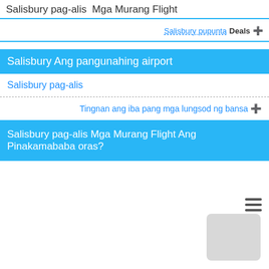Salisbury pag-alis Mga Murang Flight
Salisbury pupunta Deals ➔
Salisbury Ang pangunahing airport
Salisbury pag-alis
Tingnan ang iba pang mga lungsod ng bansa ➔
Salisbury pag-alis Mga Murang Flight Ang Pinakamababa oras?